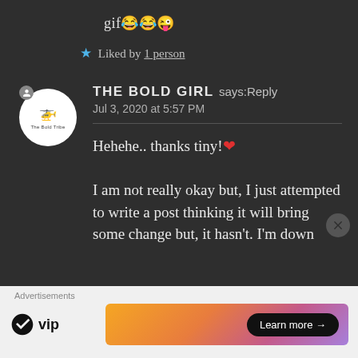gif 😂😂😜
★ Liked by 1 person
THE BOLD GIRL says: Reply
Jul 3, 2020 at 5:57 PM
Hehehe.. thanks tiny! ❤
I am not really okay but, I just attempted to write a post thinking it will bring some change but, it hasn't. I'm down
Advertisements
[Figure (logo): WordPress VIP logo with Learn more button on gradient banner ad]